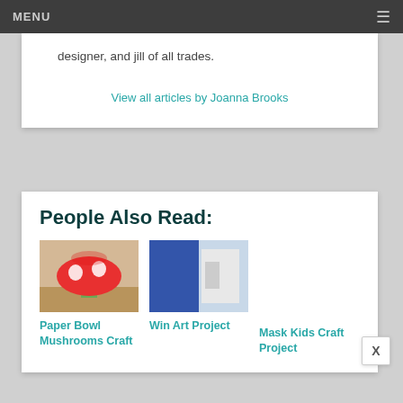MENU
designer, and jill of all trades.
View all articles by Joanna Brooks
People Also Read:
[Figure (photo): Paper Bowl Mushrooms Craft thumbnail - red mushroom cap with white spots made from paper bowl]
Paper Bowl Mushrooms Craft
[Figure (photo): Win Art Project thumbnail - blue and white image]
Win Art Project
Mask Kids Craft Project